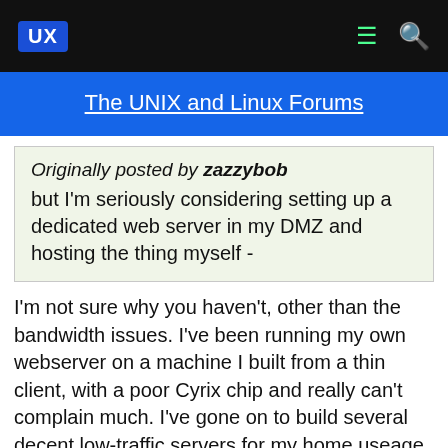UX
The UNIX and Linux Forums
Originally posted by zazzybob
but I'm seriously considering setting up a dedicated web server in my DMZ and hosting the thing myself -
I'm not sure why you haven't, other than the bandwidth issues. I've been running my own webserver on a machine I built from a thin client, with a poor Cyrix chip and really can't complain much. I've gone on to build several decent low-traffic servers for my home useage, just port forwading them to various servers for different reasons. I run mine on SSL when